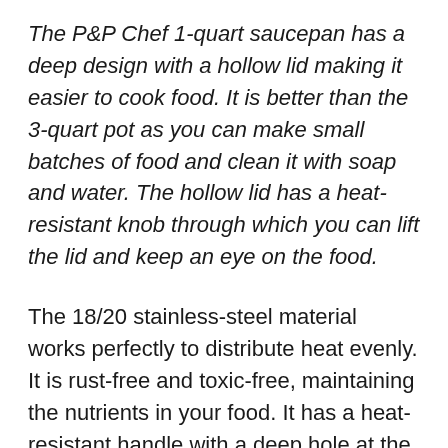The P&P Chef 1-quart saucepan has a deep design with a hollow lid making it easier to cook food. It is better than the 3-quart pot as you can make small batches of food and clean it with soap and water. The hollow lid has a heat-resistant knob through which you can lift the lid and keep an eye on the food.
The 18/20 stainless-steel material works perfectly to distribute heat evenly. It is rust-free and toxic-free, maintaining the nutrients in your food. It has a heat-resistant handle with a deep hole at the handle's end to hang the saucepan and